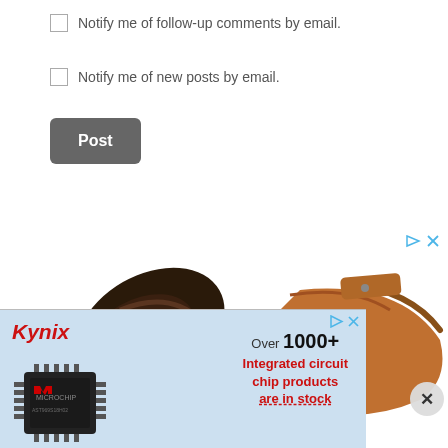Notify me of follow-up comments by email.
Notify me of new posts by email.
Post
[Figure (photo): Advertisement showing brown leather sandals/shoes with blue curved arrows indicating flexibility, with ad controls (play/close buttons) in top right and an X close button.]
[Figure (infographic): Kynix advertisement banner with red italic Kynix logo, microchip image, and text 'Over 1000+ Integrated circuit chip products are in stock']